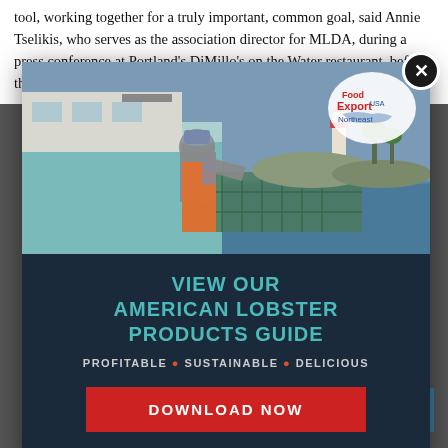tool, working together for a truly important, common goal, said Annie Tselikis, who serves as the association director for MLDA, during a press conference at Portland's DiMillo's on the Water restaurant, before the delegation moved into their
[Figure (photo): A fisherman in orange overalls and gray t-shirt handling lobster traps on a boat, with a lighthouse and rocky coastline visible in the background. Food Export USA Northeast logo badge in upper right corner of photo.]
VIEW OUR AMERICAN LOBSTER PRODUCTS GUIDE
PROFITABLE • SUSTAINABLE • DELICIOUS
DOWNLOAD NOW
Accept Cookies